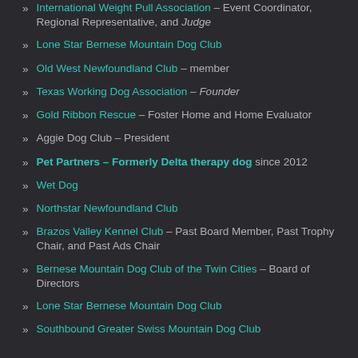International Weight Pull Association – Event Coordinator, Regional Representative, and Judge
Lone Star Bernese Mountain Dog Club
Old West Newfoundland Club – member
Texas Working Dog Association – Founder
Gold Ribbon Rescue – Foster Home and Home Evaluator
Aggie Dog Club – President
Pet Partners – Formerly Delta therapy dog since 2012
Wet Dog
Northstar Newfoundland Club
Brazos Valley Kennel Club – Past Board Member, Past Trophy Chair, and Past Ads Chair
Bernese Mountain Dog Club of the Twin Cities – Board of Directors
Lone Star Bernese Mountain Dog Club
Southbound Greater Swiss Mountain Dog Club